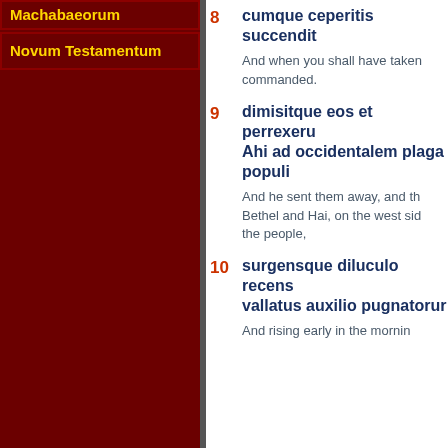Machabaeorum
Novum Testamentum
8  cumque ceperitis succendit...
And when you shall have taken... commanded.
9  dimisitque eos et perrexerunt... Ahi ad occidentalem plagam... populi
And he sent them away, and th... Bethel and Hai, on the west sid... the people,
10  surgensque diluculo recens... vallatus auxilio pugnatorum
And rising early in the morning...